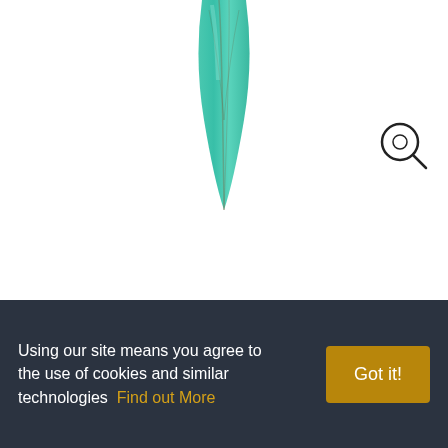[Figure (photo): Turquoise spike charm gemstone pendant, elongated teardrop/spike shape, teal/turquoise color with brown veining, partially cropped at top of product image area]
TURQUOISE SPIKE CHARM
☆ ☆ ☆ ☆ ☆ Write a review
$35.00
Using our site means you agree to the use of cookies and similar technologies  Find out More
Got it!